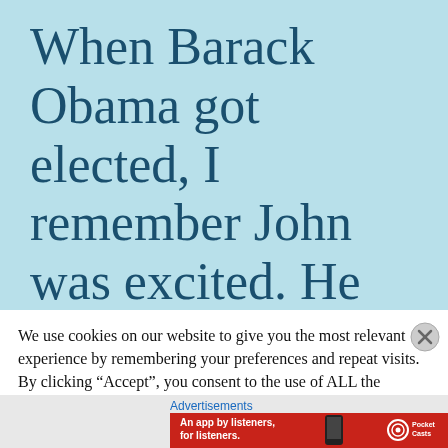When Barack Obama got elected, I remember John was excited. He said he was glad to
We use cookies on our website to give you the most relevant experience by remembering your preferences and repeat visits. By clicking “Accept”, you consent to the use of ALL the cookies.
Do not sell my personal information
Advertisements
[Figure (other): Pocket Casts advertisement banner with red background. Text reads: 'An app by listeners, for listeners.' with Pocket Casts logo and a phone showing a podcast app on the right.]